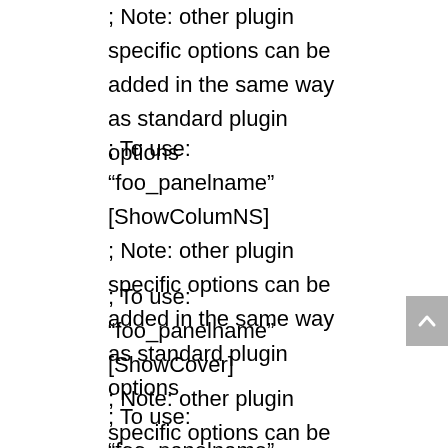; Note: other plugin specific options can be added in the same way as standard plugin options
; To use: “foo_panelname” [ShowColumNS]
; Note: other plugin specific options can be added in the same way as standard plugin options
; To use: “foo_panelname” [ShowCover]
; Note: other plugin specific options can be added in the same way as standard plugin options
; To use: “foo_panelname” [ShowGenre]
; Note: other plugin specific options can be